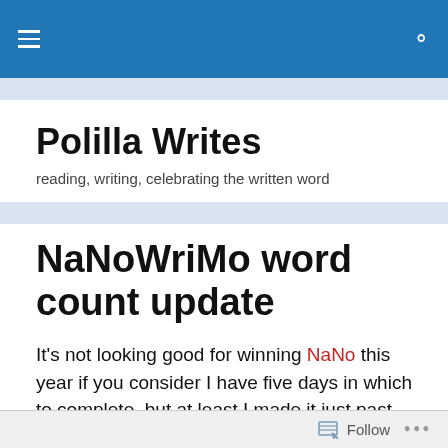Polilla Writes — navigation bar
Polilla Writes
reading, writing, celebrating the written word
NaNoWriMo word count update
It's not looking good for winning NaNo this year if you consider I have five days in which to complete, but at least I made it just past 10000 words tonight.
I didn't get as much writing done today as I would have
Follow